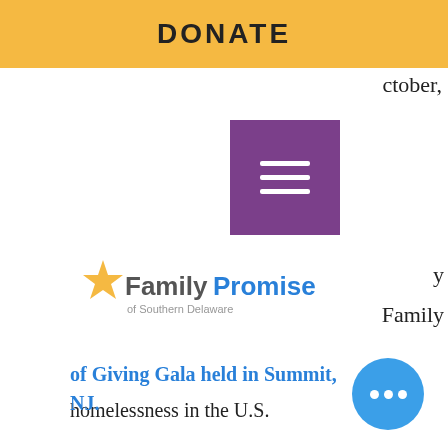DONATE
ctober,
[Figure (screenshot): Purple hamburger menu button with three white horizontal lines]
[Figure (logo): Family Promise of Southern Delaware logo with gold star and blue/orange text]
y
Family
homelessness in the U.S.
“We’re bringing our communities together to raise $1million for families experiencing homelessness,” says Chief Impact Officer Cara Bradshaw. “More than 80 Affiliates will be online on October 25 to support this mission.” The digital event will be accompanied by local in-person events at Affiliates and a
of Giving Gala held in Summit, NJ.